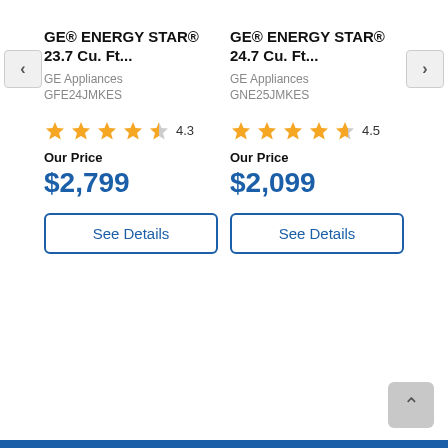GE® ENERGY STAR® 23.7 Cu. Ft...
GE Appliances
GFE24JMKES
4.3
Our Price
$2,799
See Details
GE® ENERGY STAR® 24.7 Cu. Ft...
GE Appliances
GNE25JMKES
4.5
Our Price
$2,099
See Details